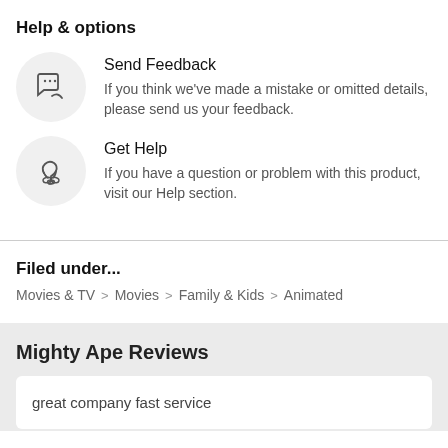Help & options
Send Feedback — If you think we've made a mistake or omitted details, please send us your feedback.
Get Help — If you have a question or problem with this product, visit our Help section.
Filed under...
Movies & TV > Movies > Family & Kids > Animated
Mighty Ape Reviews
great company fast service